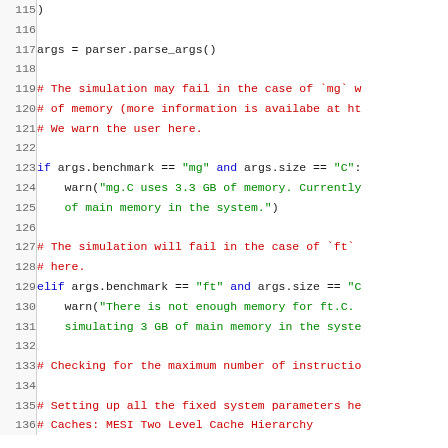[Figure (screenshot): Python source code lines 115-136 showing argument parsing, memory warnings for mg and ft benchmarks, and comments about checking instructions and system parameters.]